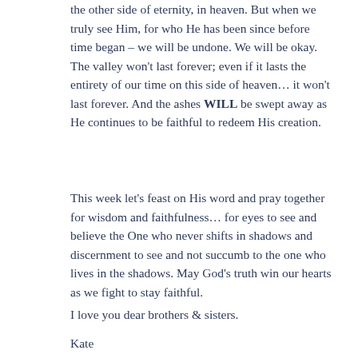the other side of eternity, in heaven. But when we truly see Him, for who He has been since before time began – we will be undone. We will be okay. The valley won't last forever; even if it lasts the entirety of our time on this side of heaven… it won't last forever. And the ashes WILL be swept away as He continues to be faithful to redeem His creation.
This week let's feast on His word and pray together for wisdom and faithfulness… for eyes to see and believe the One who never shifts in shadows and discernment to see and not succumb to the one who lives in the shadows. May God's truth win our hearts as we fight to stay faithful.
I love you dear brothers & sisters.
Kate